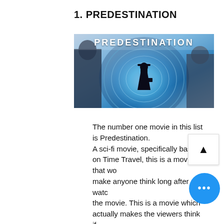1. PREDESTINATION
[Figure (photo): Movie poster/banner for Predestination showing a silhouetted figure standing in a glowing blue circular time-travel portal with the word PREDESTINATION in large white letters across the top]
The number one movie in this list is Predestination.
A sci-fi movie, specifically based on Time Travel, this is a movie that would make anyone think long after watching the movie. This is a movie which actually makes the viewers think if what they watched is correct or wrong.
A writer meets a bartender in a